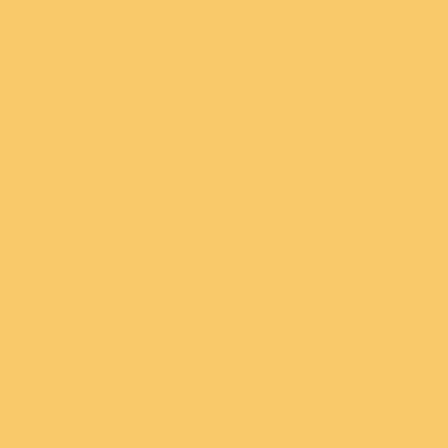[Figure (other): Large yellow/golden colored rectangular panel occupying the left portion of the page]
Bryan reported to his superior timber to cut out and none at marking it except by the track months it would be obliterated plainly. After the major stream few inches depth that each pi party of twenty men travel a d
Bridges would be necessary a be found on the banks of the needed, but as no suitable tim beyond Fort Riley's men and the assignment of one compa these bridges. [17]
At Fort Leavenworth all camp animals that would be needed returned to St. Louis for winte maps and charts to accompan of five bridges on the Fort Ril lower of the two submitted. [1 Sawyer's workmen, and the c
We have information of in that region and as I h guaranteed to me by Li departing for the place escort, as any depreda